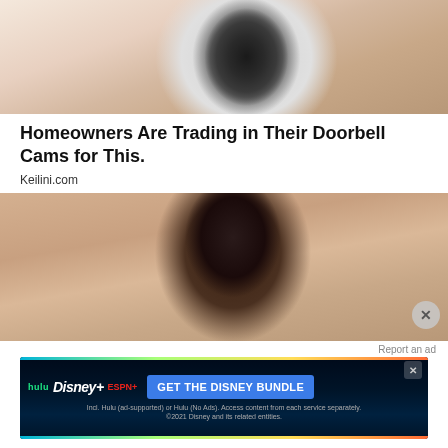[Figure (photo): Hand holding a small round white security camera with multiple LED lights arranged in a circle around a central lens]
Homeowners Are Trading in Their Doorbell Cams for This.
Keilini.com
[Figure (photo): Woman with dark hair applying something white near her eye with a cotton swab or applicator]
Report an ad
[Figure (screenshot): Disney Bundle advertisement banner showing Hulu, Disney+, and ESPN+ logos with 'GET THE DISNEY BUNDLE' call to action and fine print about Hulu access]